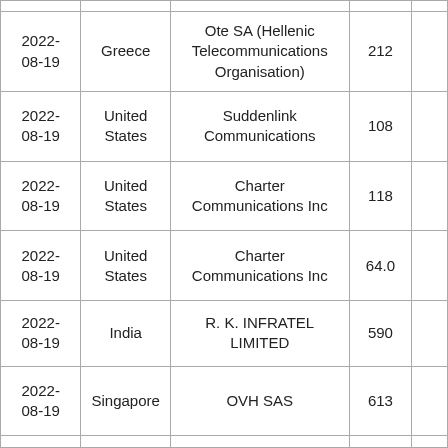| 2022-08-19 | Greece | Ote SA (Hellenic Telecommunications Organisation) | 212 |  |
| 2022-08-19 | United States | Suddenlink Communications | 108 |  |
| 2022-08-19 | United States | Charter Communications Inc | 118 |  |
| 2022-08-19 | United States | Charter Communications Inc | 64.0 |  |
| 2022-08-19 | India | R. K. INFRATEL LIMITED | 590 |  |
| 2022-08-19 | Singapore | OVH SAS | 613 |  |